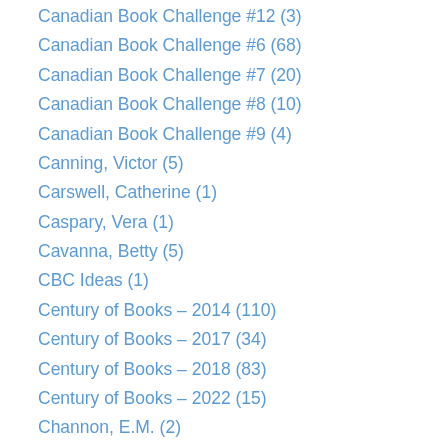Canadian Book Challenge #12 (3)
Canadian Book Challenge #6 (68)
Canadian Book Challenge #7 (20)
Canadian Book Challenge #8 (10)
Canadian Book Challenge #9 (4)
Canning, Victor (5)
Carswell, Catherine (1)
Caspary, Vera (1)
Cavanna, Betty (5)
CBC Ideas (1)
Century of Books – 2014 (110)
Century of Books – 2017 (34)
Century of Books – 2018 (83)
Century of Books – 2022 (15)
Channon, E.M. (2)
Chatwin, Bruce (1)
Christie, Agatha (5)
Christopher, John (1)
Church, Richard (1)
Chute, B.J. (1)